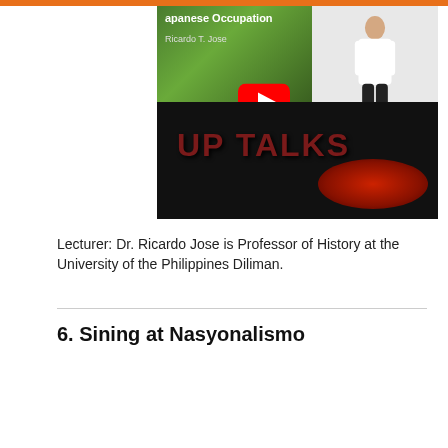[Figure (screenshot): YouTube video thumbnail for UP TALKS lecture on Japanese Occupation by Ricardo T. Jose, showing a man on a red circular stage with 'UP TALKS' text]
Lecturer: Dr. Ricardo Jose is Professor of History at the University of the Philippines Diliman.
6. Sining at Nasyonalismo
[Figure (screenshot): YouTube video thumbnail for UP TALKS | Sining... showing TVUP channel logo and red background]